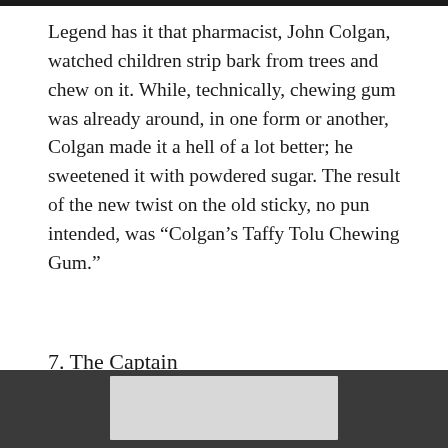Legend has it that pharmacist, John Colgan, watched children strip bark from trees and chew on it. While, technically, chewing gum was already around, in one form or another, Colgan made it a hell of a lot better; he sweetened it with powdered sugar. The result of the new twist on the old sticky, no pun intended, was “Colgan’s Taffy Tolu Chewing Gum.”
7. The Captain